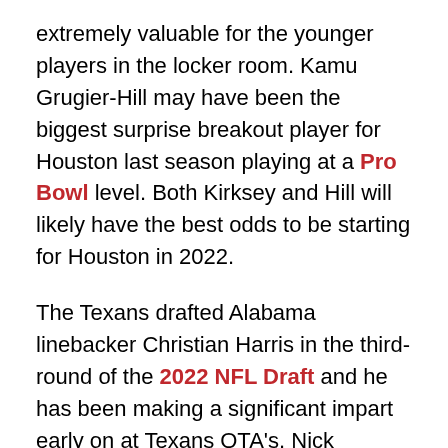extremely valuable for the younger players in the locker room. Kamu Grugier-Hill may have been the biggest surprise breakout player for Houston last season playing at a Pro Bowl level. Both Kirksey and Hill will likely have the best odds to be starting for Houston in 2022.
The Texans drafted Alabama linebacker Christian Harris in the third-round of the 2022 NFL Draft and he has been making a significant impart early on at Texans OTA's. Nick Caserio and Lovie Smith were ecstatic when they had the opportunity to draft Harris and he has the chance to become an impactful starter sooner rather than later.
One player that has been impressing many around the building has been Garret Wallow. Wallow was selected